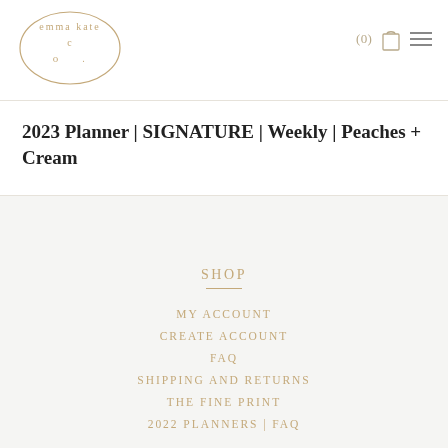emma kate co. | (0) [cart] [menu]
2023 Planner | SIGNATURE | Weekly | Peaches + Cream
SHOP
MY ACCOUNT
CREATE ACCOUNT
FAQ
SHIPPING AND RETURNS
THE FINE PRINT
2022 PLANNERS | FAQ